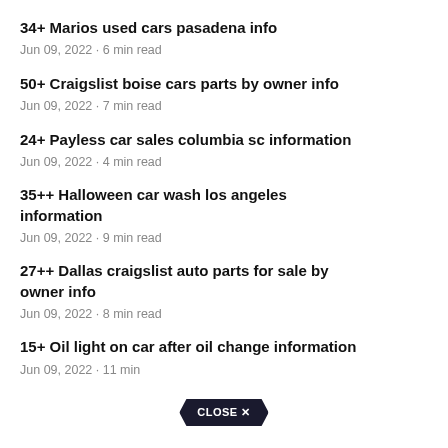34+ Marios used cars pasadena info
Jun 09, 2022 · 6 min read
50+ Craigslist boise cars parts by owner info
Jun 09, 2022 · 7 min read
24+ Payless car sales columbia sc information
Jun 09, 2022 · 4 min read
35++ Halloween car wash los angeles information
Jun 09, 2022 · 9 min read
27++ Dallas craigslist auto parts for sale by owner info
Jun 09, 2022 · 8 min read
15+ Oil light on car after oil change information
Jun 09, 2022 · 11 min